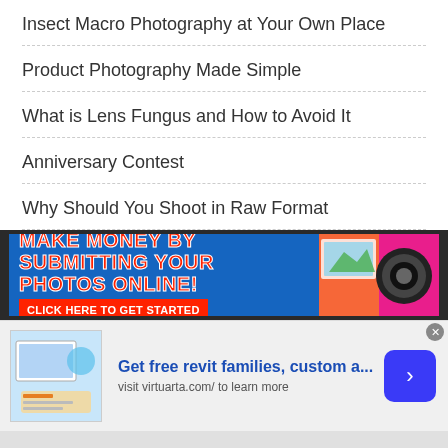Insect Macro Photography at Your Own Place
Product Photography Made Simple
What is Lens Fungus and How to Avoid It
Anniversary Contest
Why Should You Shoot in Raw Format
[Figure (infographic): Advertisement banner: MAKE MONEY BY SUBMITTING YOUR PHOTOS ONLINE! CLICK HERE TO GET STARTED - with camera and photos image on right side. Infolinks branding at bottom left.]
[Figure (infographic): Bottom advertisement: Get free revit families, custom a... visit virtuarta.com/ to learn more - with thumbnail image on left and blue arrow button on right. Close X button top right.]